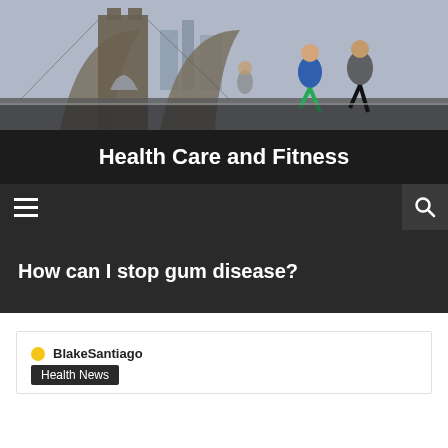[Figure (photo): Banner photo of people jogging on Brooklyn Bridge with city skyline in background]
Health Care and Fitness
How can I stop gum disease?
BlakeSantiago
Health News